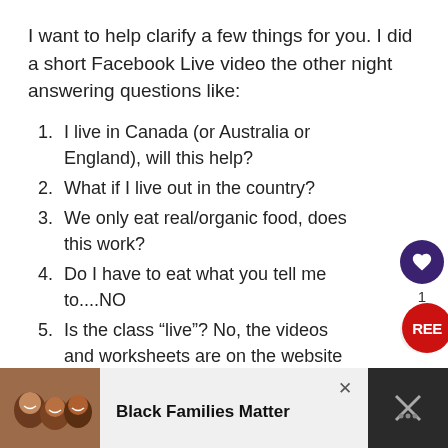I want to help clarify a few things for you. I did a short Facebook Live video the other night answering questions like:
1. I live in Canada (or Australia or England), will this help?
2. What if I live out in the country?
3. We only eat real/organic food, does this work?
4. Do I have to eat what you tell me to....NO
5. Is the class “live”? No, the videos and worksheets are on the website and you can access the new lessons each week at your convenience!
[Figure (screenshot): Bottom ad banner showing Black Families Matter advertisement with photo of smiling family and a close button]
Black Families Matter